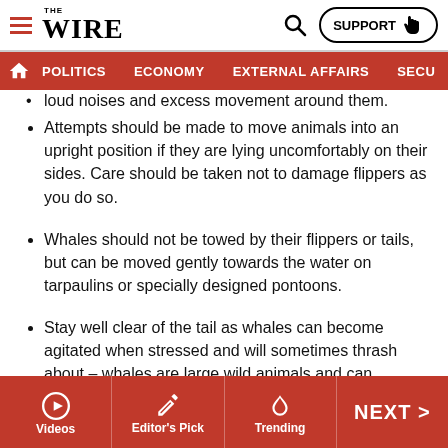THE WIRE — navigation header with POLITICS, ECONOMY, EXTERNAL AFFAIRS, SECU...
loud noises and excess movement around them. (partial, cut off at top)
Attempts should be made to move animals into an upright position if they are lying uncomfortably on their sides. Care should be taken not to damage flippers as you do so.
Whales should not be towed by their flippers or tails, but can be moved gently towards the water on tarpaulins or specially designed pontoons.
Stay well clear of the tail as whales can become agitated when stressed and will sometimes thrash about – whales are large wild animals and can inadvertently injure people by their movements.
Janaki Lenin is the author of My Husband and Other Animals. She lives in a forest with snake-man Rom Whitaker and tweets at @janakilenin.
Videos | Editor's Pick | Trending | NEXT >